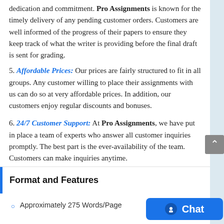dedication and commitment. Pro Assignments is known for the timely delivery of any pending customer orders. Customers are well informed of the progress of their papers to ensure they keep track of what the writer is providing before the final draft is sent for grading.
5. Affordable Prices: Our prices are fairly structured to fit in all groups. Any customer willing to place their assignments with us can do so at very affordable prices. In addition, our customers enjoy regular discounts and bonuses.
6. 24/7 Customer Support: At Pro Assignments, we have put in place a team of experts who answer all customer inquiries promptly. The best part is the ever-availability of the team. Customers can make inquiries anytime.
Format and Features
Approximately 275 Words/Page